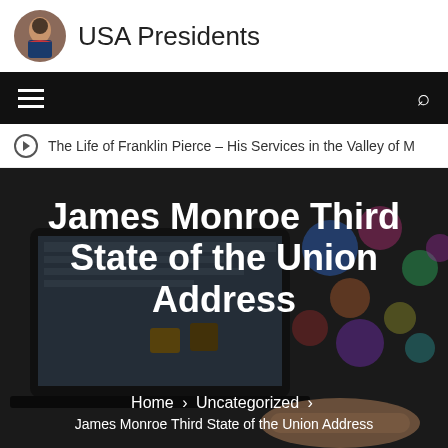USA Presidents
The Life of Franklin Pierce – His Services in the Valley of M
James Monroe Third State of the Union Address
Home > Uncategorized > James Monroe Third State of the Union Address